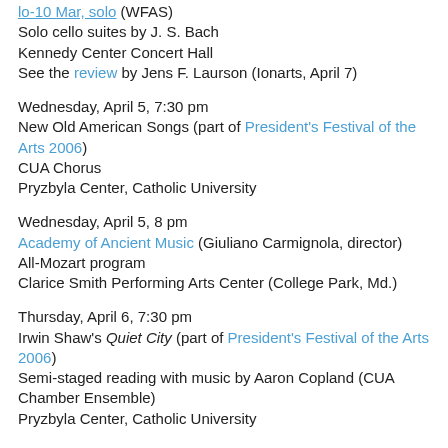Solo cello suites by J. S. Bach
Kennedy Center Concert Hall
See the review by Jens F. Laurson (Ionarts, April 7)
Wednesday, April 5, 7:30 pm
New Old American Songs (part of President's Festival of the Arts 2006)
CUA Chorus
Pryzbyla Center, Catholic University
Wednesday, April 5, 8 pm
Academy of Ancient Music (Giuliano Carmignola, director)
All-Mozart program
Clarice Smith Performing Arts Center (College Park, Md.)
Thursday, April 6, 7:30 pm
Irwin Shaw's Quiet City (part of President's Festival of the Arts 2006)
Semi-staged reading with music by Aaron Copland (CUA Chamber Ensemble)
Pryzbyla Center, Catholic University